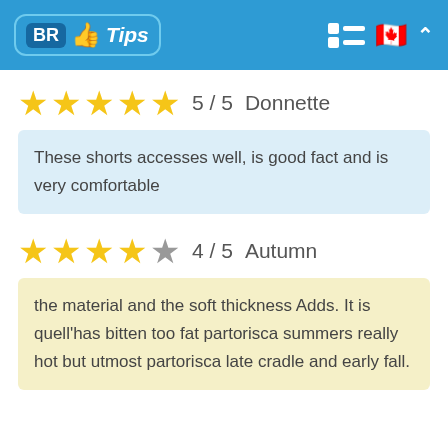BR Tips
5 / 5  Donnette
These shorts accesses well, is good fact and is very comfortable
4 / 5  Autumn
the material and the soft thickness Adds. It is quell'has bitten too fat partorisca summers really hot but utmost partorisca late cradle and early fall.